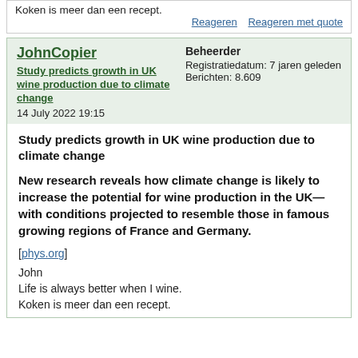Koken is meer dan een recept.
Reageren    Reageren met quote
JohnCopier
Study predicts growth in UK wine production due to climate change
14 July 2022 19:15
Beheerder
Registratiedatum: 7 jaren geleden
Berichten: 8.609
Study predicts growth in UK wine production due to climate change
New research reveals how climate change is likely to increase the potential for wine production in the UK—with conditions projected to resemble those in famous growing regions of France and Germany.
[phys.org]
John
Life is always better when I wine.
Koken is meer dan een recept.